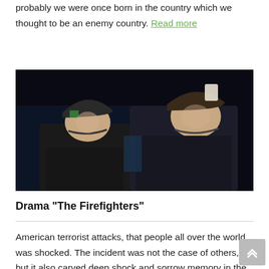probably we were once born in the country which we thought to be an enemy country. Read more
[Figure (photo): Two men wearing firefighter helmets and dark jackets, photographed against a dark background, looking upward.]
Drama "The Firefighters"
American terrorist attacks, that people all over the world was shocked. The incident was not the case of others, but it also carved deep shock and sorrow memory in the Japanese as